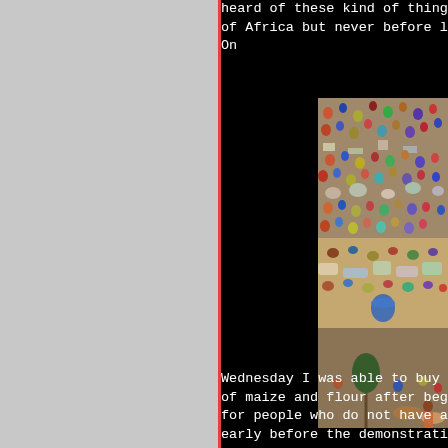[Figure (photo): Aerial or elevated view of a large crowd of displaced people with belongings scattered on dry ground in Africa]
heard of these kind of things of Africa but never before li On
Wednesday I was able to buy a of maize and flour after begg for people who do not have an early before the demonstratio people are really hurting. We Malindi Road near Kisanuni wh motioning for us to turn arou